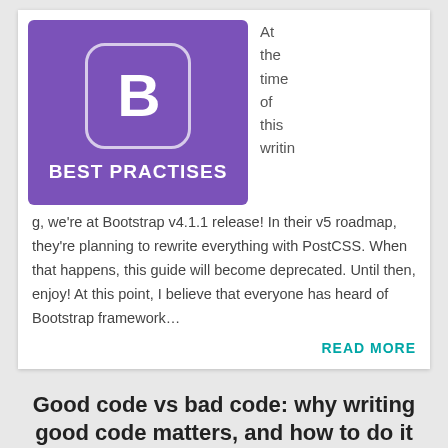[Figure (logo): Bootstrap framework logo: purple background with white rounded-square B icon, text BEST PRACTISES below]
At the time of this writing, we're at Bootstrap v4.1.1 release! In their v5 roadmap, they're planning to rewrite everything with PostCSS. When that happens, this guide will become deprecated. Until then, enjoy! At this point, I believe that everyone has heard of Bootstrap framework…
READ MORE
Good code vs bad code: why writing good code matters, and how to do it